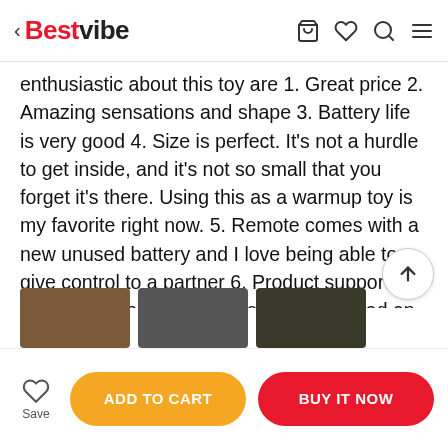< Bestvibe
enthusiastic about this toy are 1. Great price 2. Amazing sensations and shape 3. Battery life is very good 4. Size is perfect. It's not a hurdle to get inside, and it's not so small that you forget it's there. Using this as a warmup toy is my favorite right now. 5. Remote comes with a new unused battery and I love being able to give control to a partner 6. Product support, I had a question about the remote and I had an answer very quickly. If your not sure I would say go ahead, pull the trigger and don't look back. This is one of the good ones and I almost feel bad for some of my other vibrating plugs as this simply surpasses them!
[Figure (photo): Three product thumbnail images at the bottom of the review]
ADD TO CART | BUY IT NOW | Save